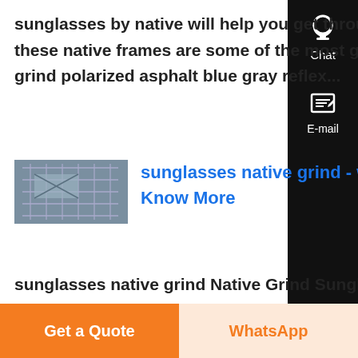sunglasses by native will help you get through the bump and grind of your da i promise these native frames are some of the most gutsiest of the more detail native eyewear grind polarized asphalt blue gray reflex...
[Figure (photo): Thumbnail image of sunglasses or related product]
sunglasses native grind - wtroscepl Know More
sunglasses native grind Native Grind Sunglasses Native Sunglasses Grind Models: Native Grind 142 302 502, 142 362 502, 142 361 515, 142 300 518, 142
Get a Quote
WhatsApp